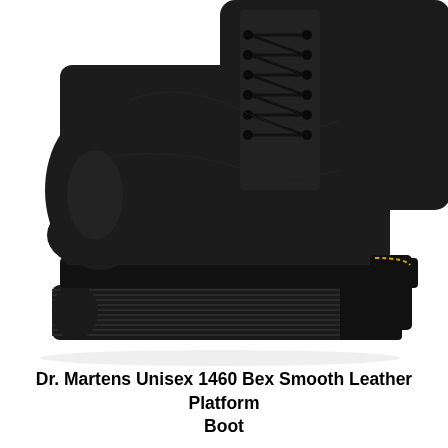[Figure (photo): Close-up photo of a Dr. Martens 1460 Bex black smooth leather platform boot with yellow stitching along the chunky ribbed sole, black laces visible at the top, on a white background.]
Dr. Martens Unisex 1460 Bex Smooth Leather Platform Boot